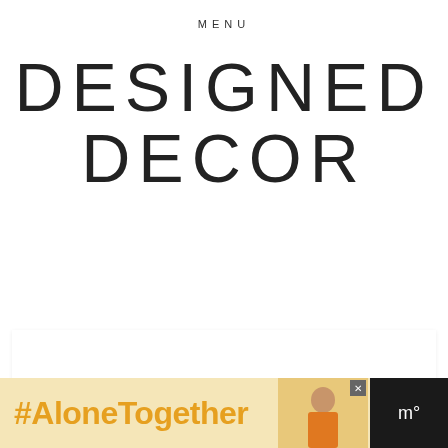MENU
DESIGNED DECOR
The best classy black painted furniture makeovers
[Figure (infographic): #AloneTogether advertisement banner with orange hashtag text on yellow background, an image of a woman, and a dark right panel]